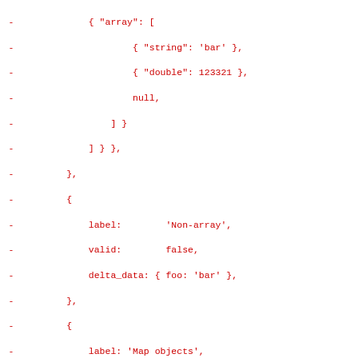Code diff showing JavaScript/JSON test data with forEach loop and mock object creation